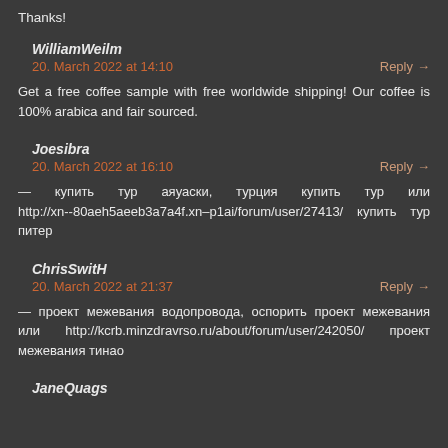Thanks!
WilliamWeilm
20. March 2022 at 14:10
Reply →
Get a free coffee sample with free worldwide shipping! Our coffee is 100% arabica and fair sourced.
Joesibra
20. March 2022 at 16:10
Reply →
— купить тур аяуаски, турция купить тур или http://xn--80aeh5aeeb3a7a4f.xn–p1ai/forum/user/27413/ купить тур питер
ChrisSwitH
20. March 2022 at 21:37
Reply →
— проект межевания водопровода, оспорить проект межевания или http://kcrb.minzdravrso.ru/about/forum/user/242050/ проект межевания тинао
JaneQuags